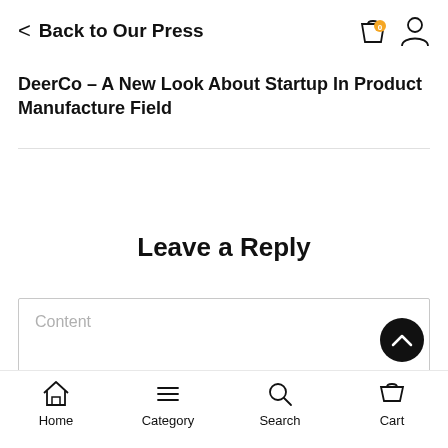Back to Our Press
DeerCo – A New Look About Startup In Product Manufacture Field
Leave a Reply
Content
Home  Category  Search  Cart